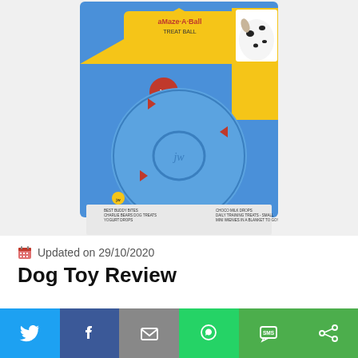[Figure (photo): Product photo of JW aMaze-A-Ball treat ball dog toy in blue packaging with a Dalmatian dog image on the packaging.]
Updated on 29/10/2020
Dog Toy Review
[Figure (infographic): Social media sharing bar with Twitter, Facebook, Email, WhatsApp, SMS, and other sharing icons on colored backgrounds.]